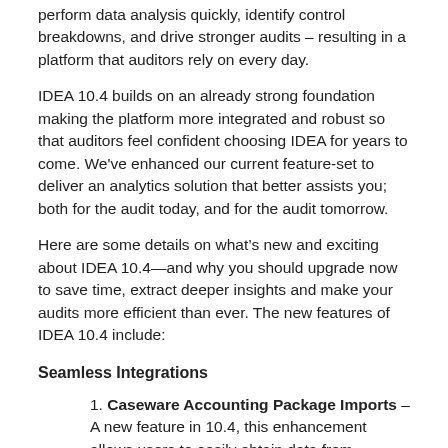perform data analysis quickly, identify control breakdowns, and drive stronger audits – resulting in a platform that auditors rely on every day.
IDEA 10.4 builds on an already strong foundation making the platform more integrated and robust so that auditors feel confident choosing IDEA for years to come. We've enhanced our current feature-set to deliver an analytics solution that better assists you; both for the audit today, and for the audit tomorrow.
Here are some details on what's new and exciting about IDEA 10.4—and why you should upgrade now to save time, extract deeper insights and make your audits more efficient than ever. The new features of IDEA 10.4 include:
Seamless Integrations
1. Caseware Accounting Package Imports – A new feature in 10.4, this enhancement allows users to easily obtain data from numerous accounting packages. This feature standardizes the data into a single output that is consumable by IDEA. Caseware supports numerous accounting